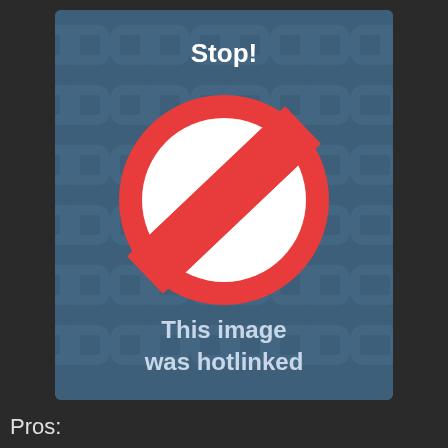[Figure (illustration): A hotlink protection image on a dark blue patterned background showing a red circle with a diagonal slash (no symbol), bold white text 'Stop!' at the top, and text 'This image was hotlinked' at the bottom.]
Pros: